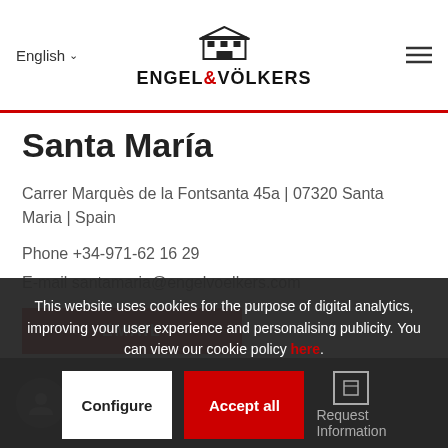English — ENGEL & VÖLKERS
Santa María
Carrer Marquès de la Fontsanta 45a | 07320 Santa Maria | Spain
Phone +34-971-62 16 29
E-mail santamaria@engelvoelkers.com
EMAIL
This website uses cookies for the purpose of digital analytics, improving your user experience and personalising publicity. You can view our cookie policy here.
Configure  Accept all
Contact A... Request Information